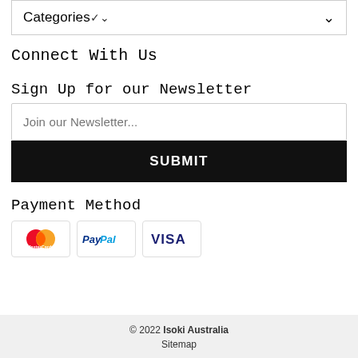Categories
Connect With Us
Sign Up for our Newsletter
Join our Newsletter...
SUBMIT
Payment Method
[Figure (other): Payment method icons: Mastercard, PayPal, Visa]
© 2022 Isoki Australia
Sitemap